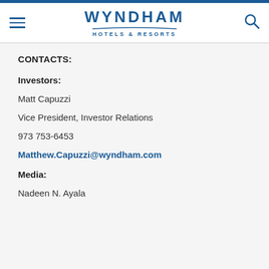Wyndham Hotels & Resorts
CONTACTS:
Investors:
Matt Capuzzi
Vice President, Investor Relations
973 753-6453
Matthew.Capuzzi@wyndham.com
Media:
Nadeen N. Ayala